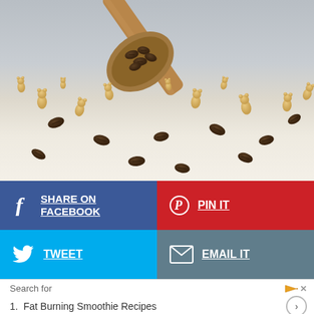[Figure (photo): Photo of bear-shaped gummy candies and coffee beans scattered on a white surface with a wooden spoon holding coffee beans in the background]
SHARE ON FACEBOOK
PIN IT
TWEET
EMAIL IT
Search for
1.  Fat Burning Smoothie Recipes